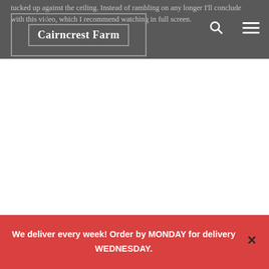Cairncrest Farm
tucked up against the ceiling. Instead of rambling on any longer I'll conclude with this video, which I recommend watching in full screen.
[Figure (screenshot): White content area below header — embedded video placeholder (blank white space)]
We deliver every week! Order by MONDAY for delivery WEDNESDAY.